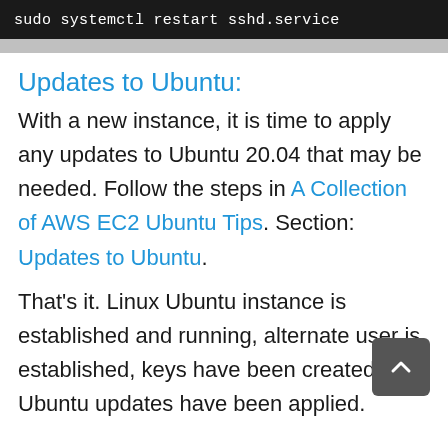[Figure (screenshot): Terminal code block showing command: sudo systemctl restart sshd.service on dark background]
Updates to Ubuntu:
With a new instance, it is time to apply any updates to Ubuntu 20.04 that may be needed. Follow the steps in A Collection of AWS EC2 Ubuntu Tips. Section: Updates to Ubuntu.
That's it. Linux Ubuntu instance is established and running, alternate user is established, keys have been created, and Ubuntu updates have been applied.